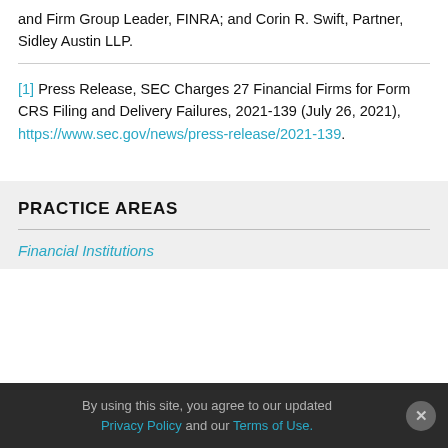and Firm Group Leader, FINRA; and Corin R. Swift, Partner, Sidley Austin LLP.
[1] Press Release, SEC Charges 27 Financial Firms for Form CRS Filing and Delivery Failures, 2021-139 (July 26, 2021), https://www.sec.gov/news/press-release/2021-139.
PRACTICE AREAS
Financial Institutions
By using this site, you agree to our updated Privacy Policy and our Terms of Use.